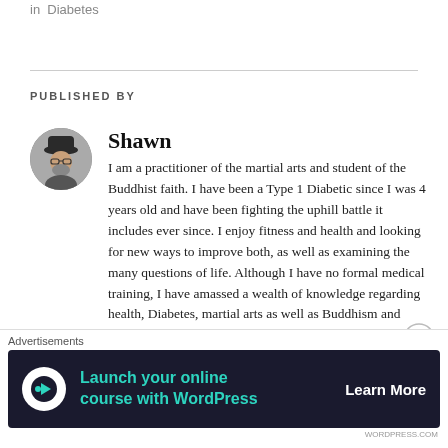in  Diabetes
PUBLISHED BY
[Figure (photo): Circular avatar photo of author Shawn, a man wearing glasses and a hat]
Shawn
I am a practitioner of the martial arts and student of the Buddhist faith. I have been a Type 1 Diabetic since I was 4 years old and have been fighting the uphill battle it includes ever since. I enjoy fitness and health and looking for new ways to improve both, as well as examining the many questions of life. Although I have no formal medical training, I have amassed a wealth of knowledge regarding health, Diabetes, martial arts as well as Buddhism and philosophy. My goal is to share this information with the world, and perhaps provide some sarcastic humour along the way. Welcome!
View all posts by Shawn →
[Figure (other): Close button (X circle) icon]
Advertisements
[Figure (infographic): Advertisement banner: Launch your online course with WordPress — Learn More]